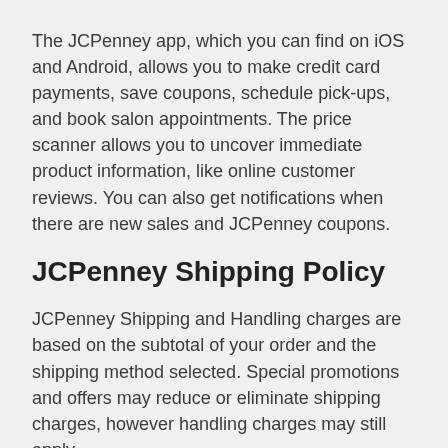The JCPenney app, which you can find on iOS and Android, allows you to make credit card payments, save coupons, schedule pick-ups, and book salon appointments. The price scanner allows you to uncover immediate product information, like online customer reviews. You can also get notifications when there are new sales and JCPenney coupons.
JCPenney Shipping Policy
JCPenney Shipping and Handling charges are based on the subtotal of your order and the shipping method selected. Special promotions and offers may reduce or eliminate shipping charges, however handling charges may still apply.